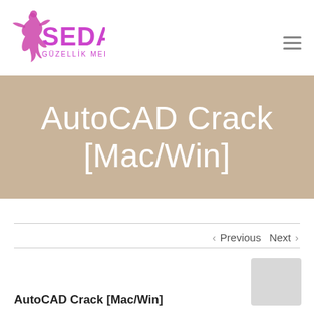[Figure (logo): Seda Güzellik Merkezi logo with pink dancer silhouette and SEDA text in magenta/pink with GÜZELLİK MERKEZİ subtitle]
AutoCAD Crack [Mac/Win]
< Previous   Next >
AutoCAD Crack [Mac/Win]